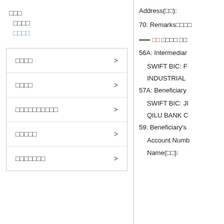□□□
□□□□
□□□□
□□□□ >
□□□□ >
□□□□□□□□□□ >
□□□□□ >
□□□□□□□ >
Address(□□):
70: Remarks□□□□
——□□ □□□□ □□
56A: Intermediar
SWIFT BIC: F
INDUSTRIAL
57A: Beneficiary
SWIFT BIC: JI
QILU BANK C
59: Beneficiary's
Account Numb
Name(□□):